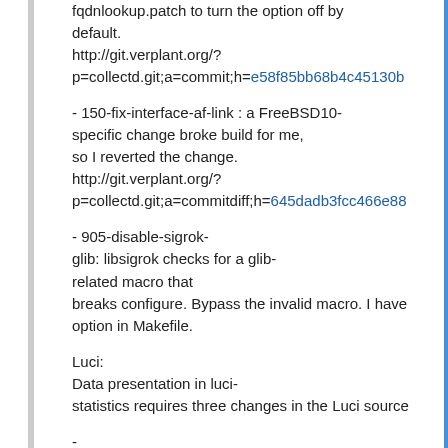fqdnlookup.patch to turn the option off by default.
http://git.verplant.org/?p=collectd.git;a=commit;h=e58f85bb68b4c45130b
- 150-fix-interface-af-link : a FreeBSD10-specific change broke build for me, so I reverted the change.
http://git.verplant.org/?p=collectd.git;a=commitdiff;h=645dadb3fcc466e88
- 905-disable-sigrok-glib: libsigrok checks for a glib-related macro that breaks configure. Bypass the invalid macro. I have option in Makefile.
Luci:
Data presentation in luci-statistics requires three changes in the Luci source
-
conntrack result data has changed name from "en
-
ping result data has changed name from "ping" to
http://git.verplant.org/?p=collectd.git;a=commitdiff;h=77a6905147798210
-
interface plugin has changed rrd data file structure